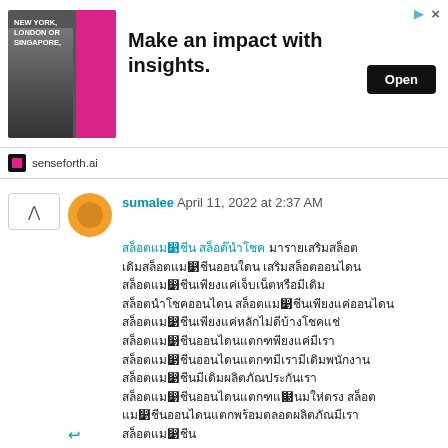[Figure (screenshot): Advertisement banner for senseforth.ai: image of man in suit, text 'NEW YORK, LONDON OR SINGAPORE,' and headline 'Make an impact with insights.' with Open button]
sumalee April 11, 2022 at 2:37 AM
[Thai script comment text - multiple lines of Thai characters in teal/link color and black]